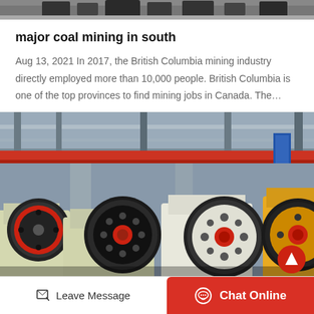[Figure (photo): Top portion of industrial machinery image, cropped at top of page]
major coal mining in south
Aug 13, 2021 In 2017, the British Columbia mining industry directly employed more than 10,000 people. British Columbia is one of the top provinces to find mining jobs in Canada. The…
[Figure (photo): Industrial jaw crusher machines in a factory/warehouse setting with steel structure ceiling, red overhead crane beam, and large flywheel mechanisms on the crushers]
Leave Message   Chat Online